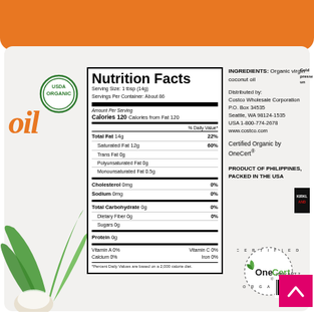[Figure (photo): Kirkland Signature Organic Virgin Coconut Oil jar with orange lid, showing nutrition facts label, ingredients, USDA Organic seal, and OneCert Organic certification logo on a white background.]